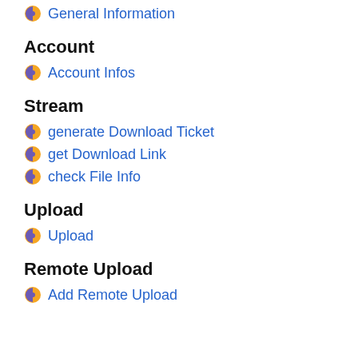General Information
Account
Account Infos
Stream
generate Download Ticket
get Download Link
check File Info
Upload
Upload
Remote Upload
Add Remote Upload